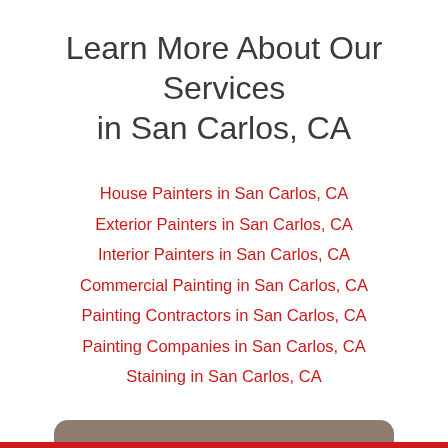Learn More About Our Services in San Carlos, CA
House Painters in San Carlos, CA
Exterior Painters in San Carlos, CA
Interior Painters in San Carlos, CA
Commercial Painting in San Carlos, CA
Painting Contractors in San Carlos, CA
Painting Companies in San Carlos, CA
Staining in San Carlos, CA
Schedule My Free Estimate